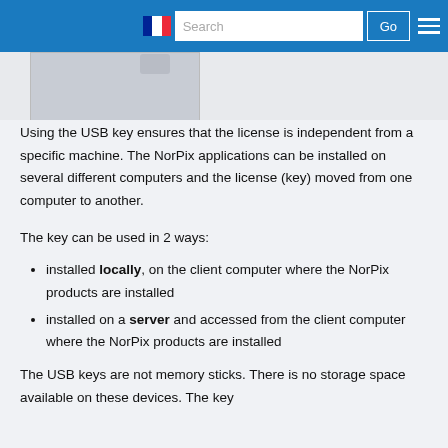Search  Go  [menu]
[Figure (screenshot): Partial screenshot of a USB key / NorPix product image, cropped at top]
Using the USB key ensures that the license is independent from a specific machine. The NorPix applications can be installed on several different computers and the license (key) moved from one computer to another.
The key can be used in 2 ways:
installed locally, on the client computer where the NorPix products are installed
installed on a server and accessed from the client computer where the NorPix products are installed
The USB keys are not memory sticks. There is no storage space available on these devices. The key